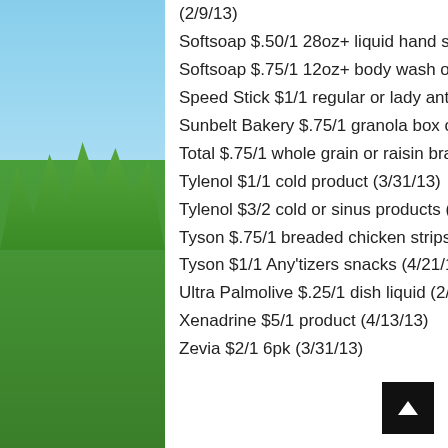(2/9/13)
Softsoap $.50/1 28oz+ liquid hand soap refill (2/9/13)
Softsoap $.75/1 12oz+ body wash or 2pk+ bar soap (2/9/13)
Speed Stick $1/1 regular or lady antiperspirant/deodorant excludes 2oz, 1.4oz and .5oz (2/2/13)
Sunbelt Bakery $.75/1 granola box or fruit & grain bars dnd (3/31/13)
Total $.75/1 whole grain or raisin bran (3/2/13)
Tylenol $1/1 cold product (3/31/13)
Tylenol $3/2 cold or sinus products (3/31/13)
Tyson $.75/1 breaded chicken strips (4/20/13)
Tyson $1/1 Any'tizers snacks (4/21/13)
Ultra Palmolive $.25/1 dish liquid (2/9/13)
Xenadrine $5/1 product (4/13/13)
Zevia $2/1 6pk (3/31/13)